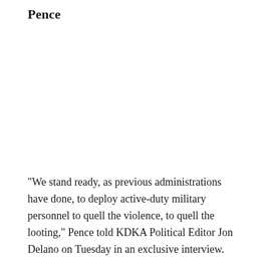Pence
"We stand ready, as previous administrations have done, to deploy active-duty military personnel to quell the violence, to quell the looting," Pence told KDKA Political Editor Jon Delano on Tuesday in an exclusive interview.